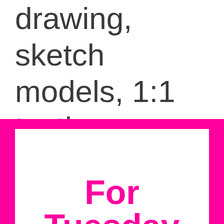drawing, sketch models, 1:1 testing.
For Tuesday